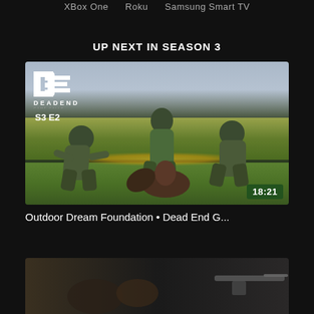XBox One   Roku   Samsung Smart TV
UP NEXT IN SEASON 3
[Figure (screenshot): Video thumbnail showing three hunters in camouflage kneeling on green grass with a harvested turkey. The Dead End Game Calls (DE) logo appears top-left along with episode label S3 E2. Duration badge shows 18:21 in bottom-right corner.]
Outdoor Dream Foundation • Dead End G...
[Figure (screenshot): Partially visible second video thumbnail showing an outdoor hunting scene, cropped at bottom of page.]